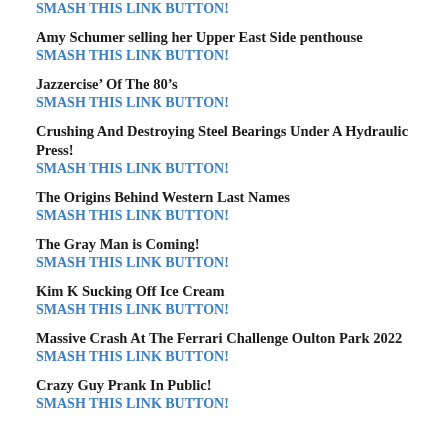SMASH THIS LINK BUTTON! (partial, top)
Amy Schumer selling her Upper East Side penthouse
SMASH THIS LINK BUTTON!
Jazzercise’ Of The 80’s
SMASH THIS LINK BUTTON!
Crushing And Destroying Steel Bearings Under A Hydraulic Press!
SMASH THIS LINK BUTTON!
The Origins Behind Western Last Names
SMASH THIS LINK BUTTON!
The Gray Man is Coming!
SMASH THIS LINK BUTTON!
Kim K Sucking Off Ice Cream
SMASH THIS LINK BUTTON!
Massive Crash At The Ferrari Challenge Oulton Park 2022
SMASH THIS LINK BUTTON!
Crazy Guy Prank In Public!
SMASH THIS LINK BUTTON!